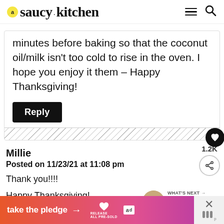saucy kitchen
minutes before baking so that the coconut oil/milk isn't too cold to rise in the oven. I hope you enjoy it them – Happy Thanksgiving!
Reply
Millie
Posted on 11/23/21 at 11:08 pm
Thank you!!!!
Happy Thanksgiving!
1.2K
WHAT'S NEXT → Gluten Free Vegan...
take the pledge →